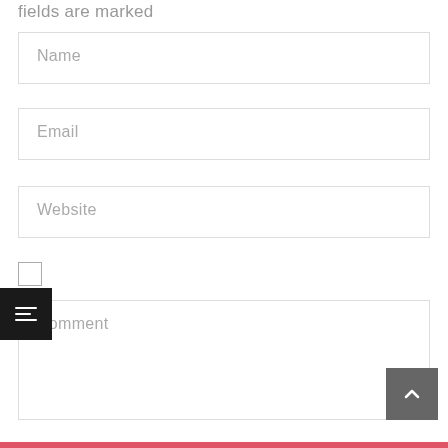fields are marked
Name
Email
Website
Comment